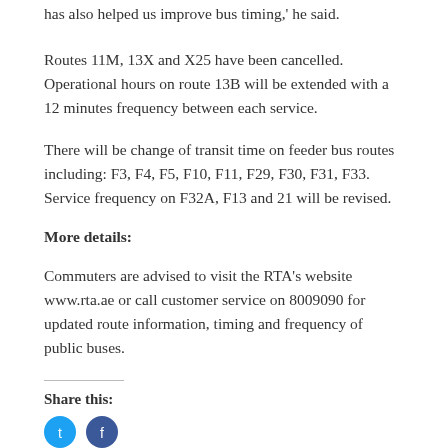has also helped us improve bus timing,' he said.
Routes 11M, 13X and X25 have been cancelled. Operational hours on route 13B will be extended with a 12 minutes frequency between each service.
There will be change of transit time on feeder bus routes including: F3, F4, F5, F10, F11, F29, F30, F31, F33. Service frequency on F32A, F13 and 21 will be revised.
More details:
Commuters are advised to visit the RTA's website www.rta.ae or call customer service on 8009090 for updated route information, timing and frequency of public buses.
Share this: